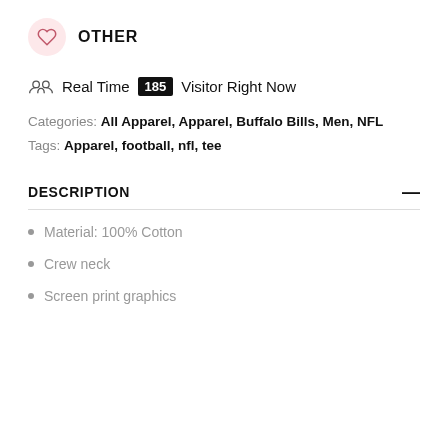[Figure (illustration): Heart icon inside a pink circle, followed by the text OTHER]
Real Time 185 Visitor Right Now
Categories: All Apparel, Apparel, Buffalo Bills, Men, NFL
Tags: Apparel, football, nfl, tee
DESCRIPTION
Material: 100% Cotton
Crew neck
Screen print graphics